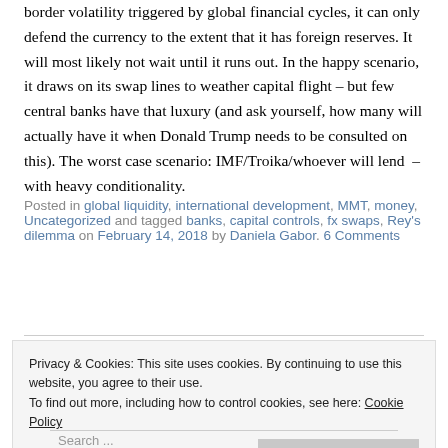border volatility triggered by global financial cycles, it can only defend the currency to the extent that it has foreign reserves. It will most likely not wait until it runs out. In the happy scenario, it draws on its swap lines to weather capital flight – but few central banks have that luxury (and ask yourself, how many will actually have it when Donald Trump needs to be consulted on this). The worst case scenario: IMF/Troika/whoever will lend – with heavy conditionality.
Posted in global liquidity, international development, MMT, money, Uncategorized and tagged banks, capital controls, fx swaps, Rey's dilemma on February 14, 2018 by Daniela Gabor. 6 Comments
Privacy & Cookies: This site uses cookies. By continuing to use this website, you agree to their use. To find out more, including how to control cookies, see here: Cookie Policy
Close and accept
Search ...